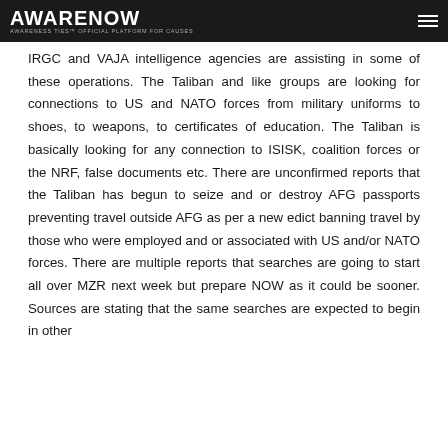AWARENOW — AWARENESS TIES™ OFFICIAL PLATFORM FOR CAUSES
IRGC and VAJA intelligence agencies are assisting in some of these operations. The Taliban and like groups are looking for connections to US and NATO forces from military uniforms to shoes, to weapons, to certificates of education. The Taliban is basically looking for any connection to ISISK, coalition forces or the NRF, false documents etc. There are unconfirmed reports that the Taliban has begun to seize and or destroy AFG passports preventing travel outside AFG as per a new edict banning travel by those who were employed and or associated with US and/or NATO forces. There are multiple reports that searches are going to start all over MZR next week but prepare NOW as it could be sooner. Sources are stating that the same searches are expected to begin in other